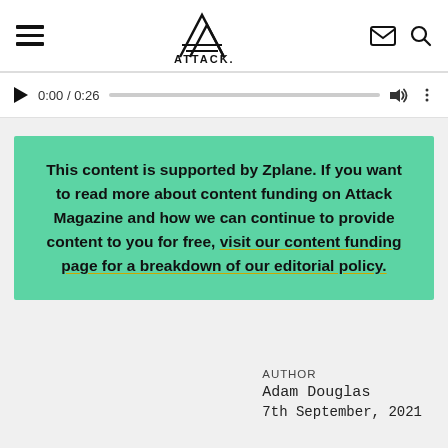[Figure (logo): Attack Magazine logo with mountain/triangle graphic and ATTACK. wordmark]
[Figure (screenshot): Audio player bar showing play button, time 0:00 / 0:26, progress bar, volume icon, and more options icon]
This content is supported by Zplane. If you want to read more about content funding on Attack Magazine and how we can continue to provide content to you for free, visit our content funding page for a breakdown of our editorial policy.
AUTHOR
Adam Douglas
7th September, 2021